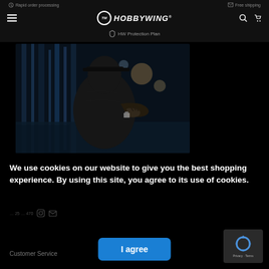Rapid order processing  Free shipping  HOBBYWING  HW Protection Plan
[Figure (photo): A silhouette of a man in a dark shirt with his hand on his chest, photographed against a blurred background with vertical light strips, in a dark blue-toned setting.]
We use cookies on our website to give you the best shopping experience. By using this site, you agree to its use of cookies.
Customer Service  I agree